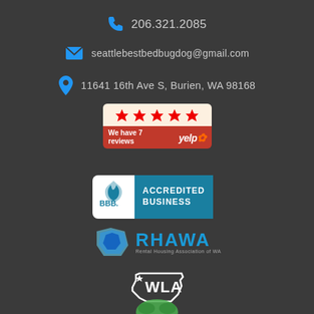206.321.2085
seattlebestbedbugdog@gmail.com
11641 16th Ave S, Burien, WA 98168
[Figure (logo): Yelp badge showing 5 stars and 7 reviews]
[Figure (logo): BBB Accredited Business badge]
[Figure (logo): RHAWA - Rental Housing Association of WA logo]
[Figure (logo): WLA Washington Logo]
[Figure (logo): Partially visible green logo at bottom]